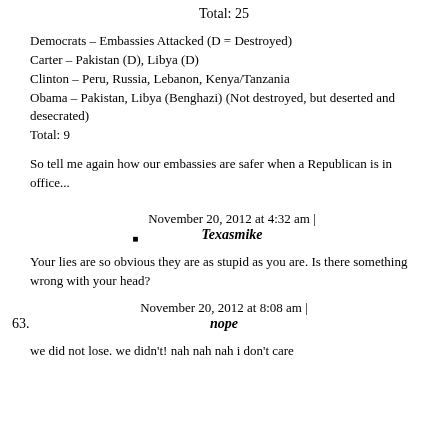Total: 25
Democrats – Embassies Attacked (D = Destroyed)
Carter – Pakistan (D), Libya (D)
Clinton – Peru, Russia, Lebanon, Kenya/Tanzania
Obama – Pakistan, Libya (Benghazi) (Not destroyed, but deserted and desecrated)
Total: 9
So tell me again how our embassies are safer when a Republican is in office...
November 20, 2012 at 4:32 am | Texasmike
Your lies are so obvious they are as stupid as you are. Is there something wrong with your head?
November 20, 2012 at 8:08 am | nope
we did not lose. we didn't! nah nah nah i don't care